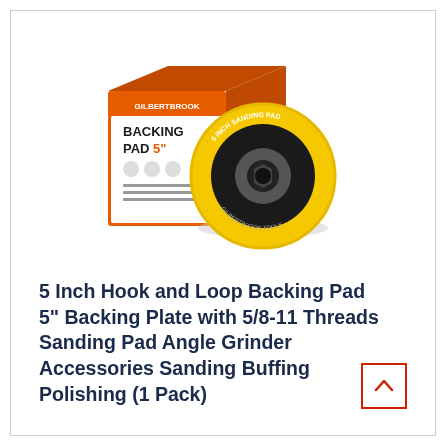[Figure (photo): Product photo showing a yellow 5-inch hook and loop sanding/backing pad (circular disc with black center hub) next to its retail box packaging labeled 'GILBERTBROOK BACKING PAD 5"' with orange and black design]
5 Inch Hook and Loop Backing Pad 5" Backing Plate with 5/8-11 Threads Sanding Pad Angle Grinder Accessories Sanding Buffing Polishing (1 Pack)